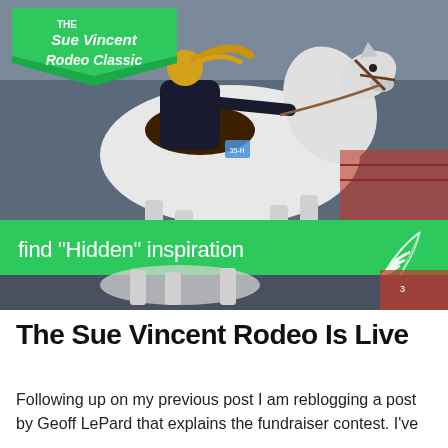[Figure (photo): A composite image with a green background showing a woman riding a white horse at a rodeo. In the upper left corner is a green banner graphic reading 'THE Sue Vincent Rodeo Classic'. In the lower portion of the image is a green band with white text reading 'find "Hidden" inspiration' with a feather/quill icon on the right. Below the green band is another strip of the rodeo photo showing the lower portion of the horse and rider.]
The Sue Vincent Rodeo Is Live
Following up on my previous post I am reblogging a post by Geoff LePard that explains the fundraiser contest. I've